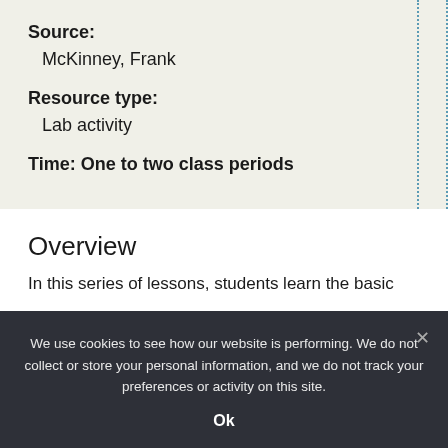Source: McKinney, Frank
Resource type: Lab activity
Time: One to two class periods
Overview
In this series of lessons, students learn the basics...
We use cookies to see how our website is performing. We do not collect or store your personal information, and we do not track your preferences or activity on this site.
Ok